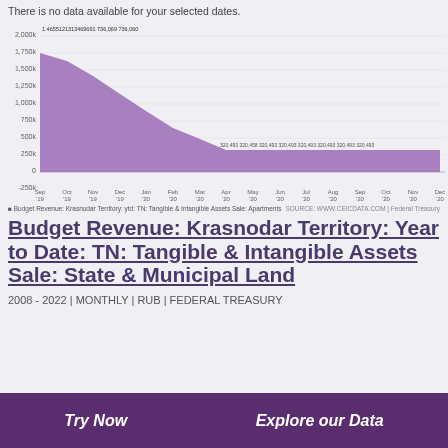There is no data available for your selected dates.
[Figure (area-chart): Budget Revenue: Krasnodar Territory: ytd: TN: Tangible & Intangible Assets Sale: Apartments]
Budget Revenue: Krasnodar Territory: ytd: TN: Tangible & Intangible Assets Sale: Apartments
SOURCE: WWW.CEICDATA.COM | Federal Treasury
Budget Revenue: Krasnodar Territory: Year to Date: TN: Tangible & Intangible Assets Sale: State & Municipal Land
2008 - 2022 | MONTHLY | RUB | FEDERAL TREASURY
Try Now
Explore our Data